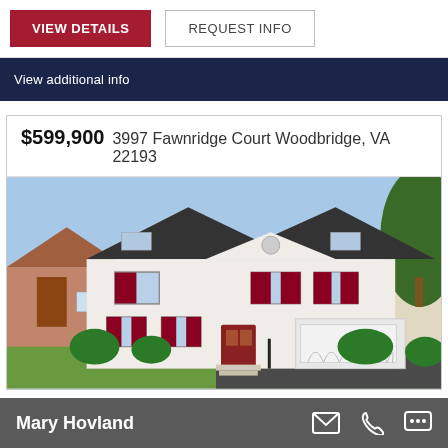VIEW DETAILS
REQUEST INFO
View additional info
$599,900 3997 Fawnridge Court Woodbridge, VA 22193
[Figure (photo): Exterior photo of a two-story white colonial-style house with red shutters, two-car garage, landscaped front yard, at 3997 Fawnridge Court Woodbridge VA]
Mary Hovland